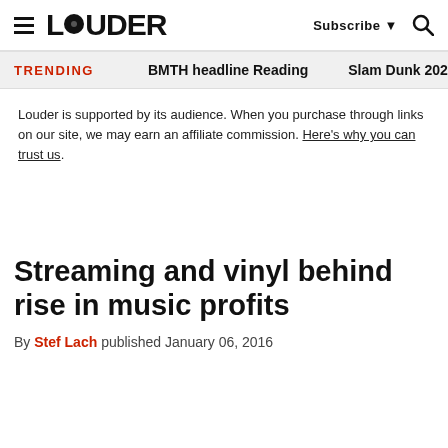LOUDER | Subscribe | Search
TRENDING   BMTH headline Reading   Slam Dunk 202
Louder is supported by its audience. When you purchase through links on our site, we may earn an affiliate commission. Here's why you can trust us.
Streaming and vinyl behind rise in music profits
By Stef Lach published January 06, 2016